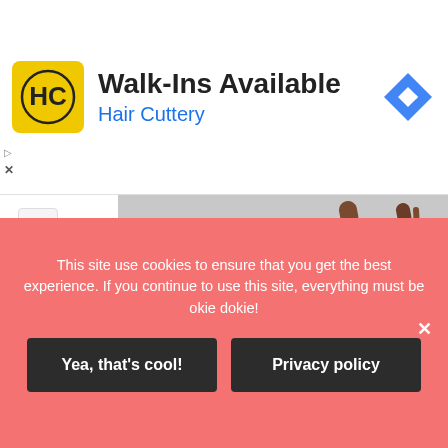[Figure (screenshot): Advertisement banner for Hair Cuttery showing logo, Walk-Ins Available text, and navigation icon]
[Figure (photo): Bronze horse sculpture on a dark hexagonal pedestal with decorative brick pavement in background]
This site use cookies to ensure that you get the best experience. If you continue to use this site, everything must be okie dokie!
Yea, that's cool!
Privacy policy